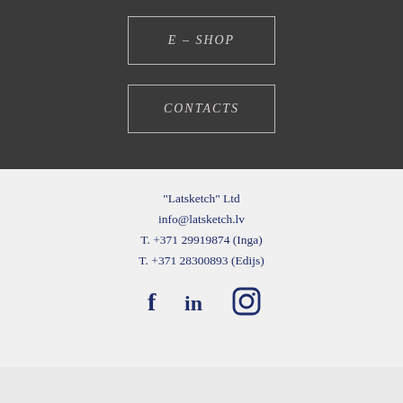E – SHOP
CONTACTS
"Latsketch" Ltd
info@latsketch.lv
T. +371 29919874 (Inga)
T. +371 28300893 (Edijs)
[Figure (other): Social media icons row: Facebook (f), LinkedIn (in), Instagram (camera icon), in dark navy blue]